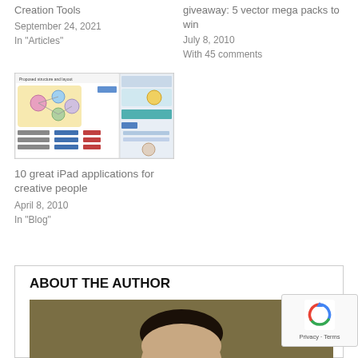Creation Tools
September 24, 2021
In "Articles"
giveaway: 5 vector mega packs to win
July 8, 2010
With 45 comments
[Figure (screenshot): Thumbnail screenshot of an iPad app showing a proposed structure and layout diagram with mind map nodes and UI wireframes]
10 great iPad applications for creative people
April 8, 2010
In "Blog"
ABOUT THE AUTHOR
[Figure (photo): Partial photo of author's head against a tan/olive background]